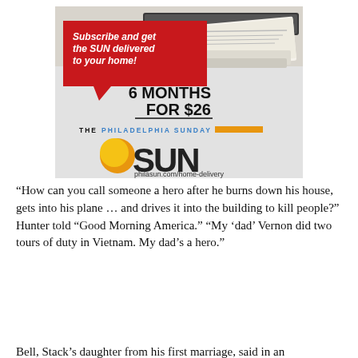[Figure (illustration): Advertisement for The Philadelphia Sunday SUN newspaper subscription. Red speech bubble says 'Subscribe and get the SUN delivered to your home!' with an image of a folded newspaper in a mail slot. Text reads '6 MONTHS FOR $26'. Logo shows 'THE PHILADELPHIA SUNDAY SUN' with an orange sun circle and text 'philasun.com/home-delivery'.]
“How can you call someone a hero after he burns down his house, gets into his plane … and drives it into the building to kill people?” Hunter told “Good Morning America.” “My ‘dad’ Vernon did two tours of duty in Vietnam. My dad’s a hero.”
Bell, Stack’s daughter from his first marriage, said in an